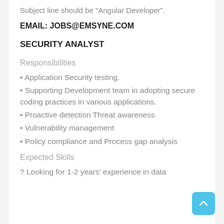Subject line should be "Angular Developer".
EMAIL: JOBS@EMSYNE.COM
SECURITY ANALYST
Responsibilities
• Application Security testing.
• Supporting Development team in adopting secure coding practices in various applications.
• Proactive detection Threat awareness
• Vulnerability management
• Policy compliance and Process gap analysis
Expected Skills
? Looking for 1-2 years' experience in data